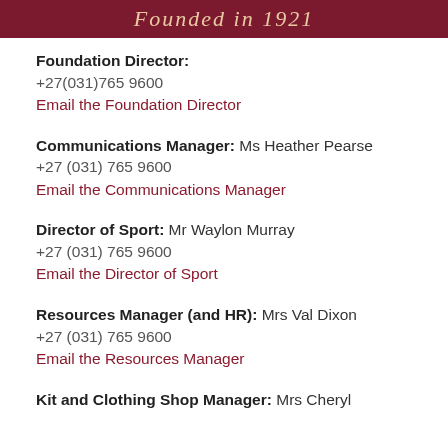Founded in 1921
Foundation Director:
+27(031)765 9600
Email the Foundation Director
Communications Manager: Ms Heather Pearse
+27 (031) 765 9600
Email the Communications Manager
Director of Sport: Mr Waylon Murray
+27 (031) 765 9600
Email the Director of Sport
Resources Manager (and HR): Mrs Val Dixon
+27 (031) 765 9600
Email the Resources Manager
Kit and Clothing Shop Manager: Mrs Cheryl